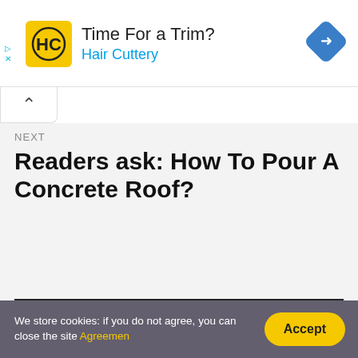[Figure (other): Hair Cuttery advertisement banner with yellow HC logo, 'Time For a Trim?' headline, 'Hair Cuttery' subtext in blue, and a blue diamond navigation arrow on the right.]
NEXT
Readers ask: How To Pour A Concrete Roof?
We store cookies: if you do not agree, you can close the site Agreemen
Accept